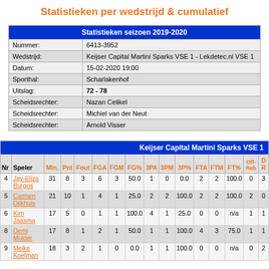Statistieken per wedstrijd & cumulatief
|  | Statistieken seizoen 2019-2020 |
| --- | --- |
| Nummer: | 6413-3952 |
| Wedstrijd: | Keijser Capital Martini Sparks VSE 1 - Lekdetec.nl VSE 1 |
| Datum: | 15-02-2020 19:00 |
| Sporthal: | Scharlakenhof |
| Uitslag: | 72 - 78 |
| Scheidsrechter: | Nazan Celikel |
| Scheidsrechter: | Michiel van der Neut |
| Scheidsrechter: | Arnold Visser |
| Nr | Speler | Min. | Pnt | Fout | FGA | FGM | FG% | 3PA | 3PM | 3P% | FTA | FTM | FT% | Off-Reb | D-R |
| --- | --- | --- | --- | --- | --- | --- | --- | --- | --- | --- | --- | --- | --- | --- | --- |
| 4 | Jay-Eliza Burgos | 31 | 8 | 3 | 6 | 3 | 50.0 | 1 | 0 | 0.0 | 2 | 2 | 100.0 | 0 | 3 |
| 5 | Carmen Dijkhuis | 21 | 10 | 1 | 4 | 1 | 25.0 | 2 | 2 | 100.0 | 2 | 2 | 100.0 | 2 | 0 |
| 6 | Kim Jaasma | 17 | 5 | 0 | 1 | 1 | 100.0 | 4 | 1 | 25.0 | 0 | 0 | n/a | 1 | 1 |
| 8 | Demi Mulder | 17 | 8 | 1 | 2 | 1 | 50.0 | 1 | 1 | 100.0 | 4 | 3 | 75.0 | 1 | 1 |
| 9 | Meike Koelman | 18 | 3 | 2 | 1 | 0 | 0.0 | 1 | 1 | 100.0 | 0 | 0 | n/a | 0 | 2 |